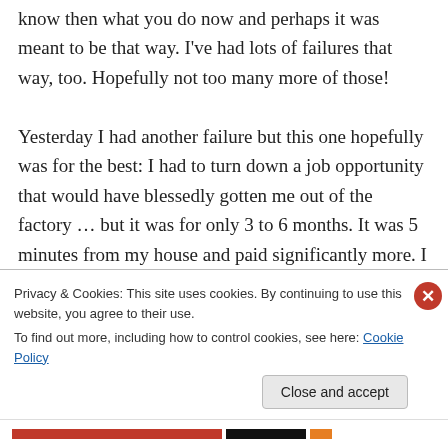know then what you do now and perhaps it was meant to be that way. I've had lots of failures that way, too. Hopefully not too many more of those!

Yesterday I had another failure but this one hopefully was for the best: I had to turn down a job opportunity that would have blessedly gotten me out of the factory … but it was for only 3 to 6 months. It was 5 minutes from my house and paid significantly more. I currently commute 40 minutes each way on a very low income. But I
Privacy & Cookies: This site uses cookies. By continuing to use this website, you agree to their use.
To find out more, including how to control cookies, see here: Cookie Policy